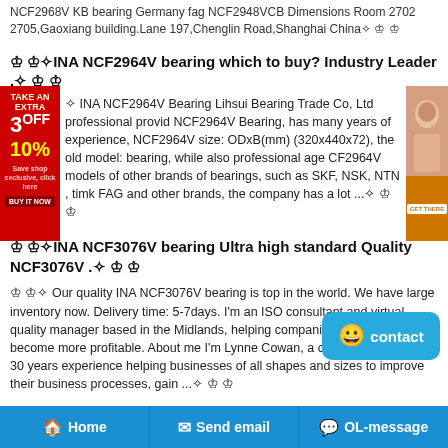NCF2968V KB bearing Germany fag NCF2948VCB Dimensions Room 2702 2705,Gaoxiang building.Lane 197,Chenglin Road,Shanghai China
INA NCF2964V bearing which to buy? Industry Leader .
INA NCF2964V Bearing Lihsui Bearing Trade Co, Ltd professional provides NCF2964V Bearing, has many years of experience, NCF2964V size: ODxB(mm) (320x440x72), the old model: bearing, while also professional age NCF2964V models of other brands of bearings, such as SKF, NSK, NTN , timke FAG and other brands, the company has a lot ...
INA NCF3076V bearing Ultra high standard Quality NCF3076V .
Our quality INA NCF3076V bearing is top in the world. We have large inventory now. Delivery time: 5-7days. I'm an ISO consultant and virtual quality manager based in the Midlands, helping companies large and small to become more profitable. About me I'm Lynne Cowan, a consultant with over 30 years experience helping businesses of all shapes and sizes to improve their business processes, gain ...
NTN 2RT12101 bearing - Andia - Professional bearing
Home   Send email   OL-message